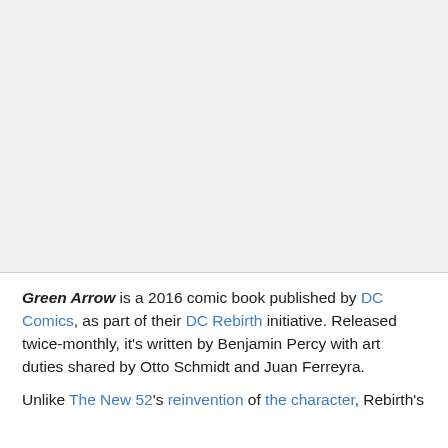[Figure (photo): Large light gray placeholder image area occupying the top portion of the page.]
Green Arrow is a 2016 comic book published by DC Comics, as part of their DC Rebirth initiative. Released twice-monthly, it's written by Benjamin Percy with art duties shared by Otto Schmidt and Juan Ferreyra.
Unlike The New 52's reinvention of the character, Rebirth's